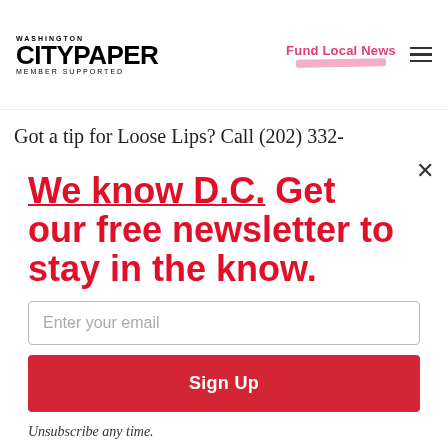WASHINGTON CITYPAPER MEMBER SUPPORTED | Fund Local News
Got a tip for Loose Lips? Call (202) 332-
We know D.C. Get our free newsletter to stay in the know.
Enter your email
Sign Up
Unsubscribe any time.